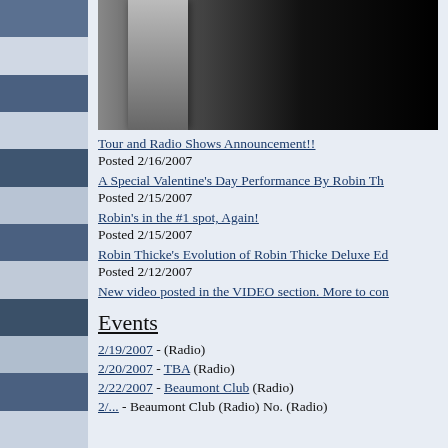[Figure (photo): Dark photo with a vertical stone or pillar column visible on the left side against a very dark background]
Tour and Radio Shows Announcement!! Posted 2/16/2007
A Special Valentine's Day Performance By Robin Th... Posted 2/15/2007
Robin's in the #1 spot, Again! Posted 2/15/2007
Robin Thicke's Evolution of Robin Thicke Deluxe Ed... Posted 2/12/2007
New video posted in the VIDEO section. More to con...
Events
2/19/2007 - (Radio)
2/20/2007 - TBA (Radio)
2/22/2007 - Beaumont Club (Radio)
... Beaumont Club (Radio) No. (Radio)